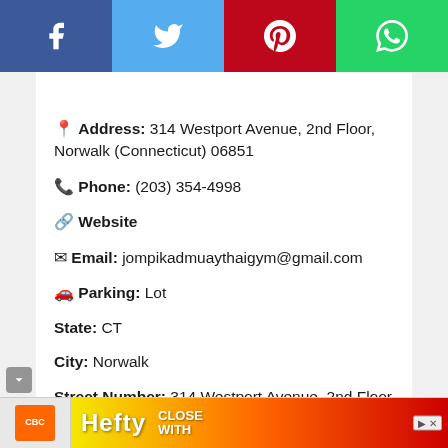[Figure (other): Social share bar with four buttons: Facebook (blue), Twitter (light blue), Pinterest (red), WhatsApp (green), each with white icon]
📍 Address: 314 Westport Avenue, 2nd Floor, Norwalk (Connecticut) 06851
📞 Phone: (203) 354-4998
🔗 Website
✉ Email: jompikadmuaythaigym@gmail.com
🚗 Parking: Lot
State: CT
City: Norwalk
Street Number: 314 Westport Avenue, 2nd Floor
[Figure (other): Hefty advertisement banner at bottom]